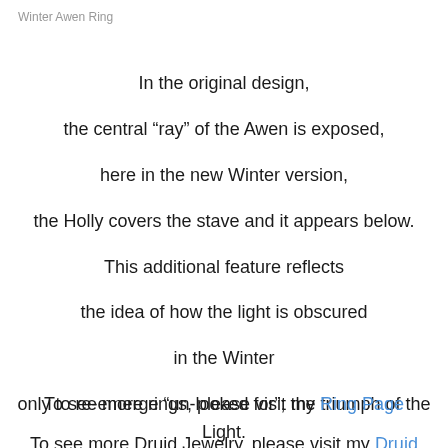Winter Awen Ring
In the original design,
the central “ray” of the Awen is exposed,
here in the new Winter version,
the Holly covers the stave and it appears below.
This additional feature reflects
the idea of how the light is obscured
in the Winter
only to re-emerge “un-looked for”; the triumph of the Light.

The Winter Awen Ring is now available through Amulets by Merlin,
to order your Awen Ring,
please visit my Awen Ring page.
To see more rings, please visit my Ring Page
To see more Druid Jewelry, please visit my Druid Amulets